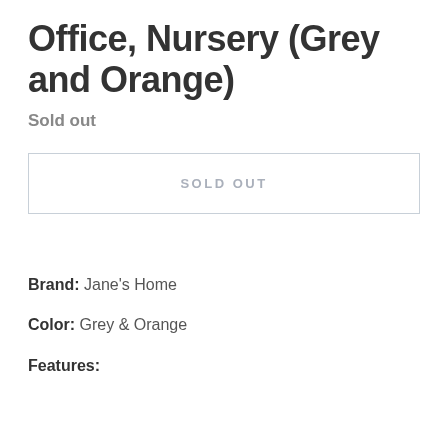Office, Nursery (Grey and Orange)
Sold out
SOLD OUT
Brand: Jane's Home
Color: Grey & Orange
Features: